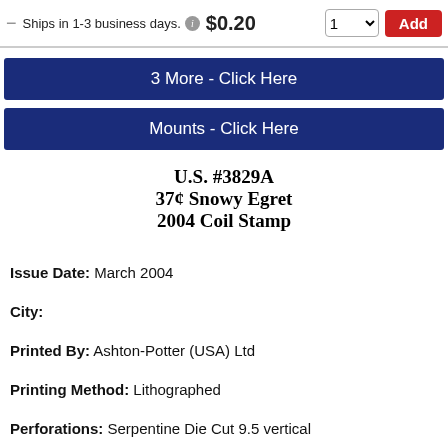Used Single Stamp(s) Ships in 1-3 business days. $0.20 [qty: 1] [Add]
3 More - Click Here
Mounts - Click Here
U.S. #3829A
37¢ Snowy Egret
2004 Coil Stamp
Issue Date: March 2004
City:
Printed By: Ashton-Potter (USA) Ltd
Printing Method: Lithographed
Perforations: Serpentine Die Cut 9.5 vertical
Color: Multicolored
The long, lacy feathers on the snowy egret once decorated ladies hats. The birds were almost to extinction in